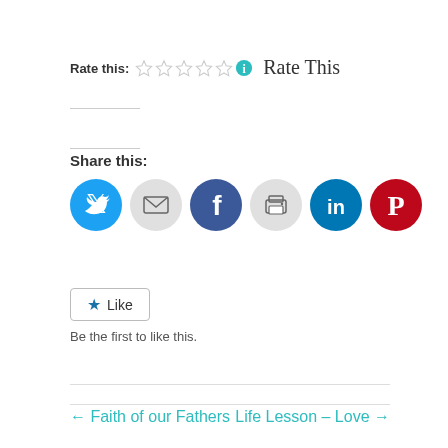Rate this:
[Figure (other): Five empty star rating icons followed by an info circle icon]
Rate This
Share this:
[Figure (other): Social sharing icons: Twitter (blue), Email (gray), Facebook (blue), Print (gray), LinkedIn (dark blue), Pinterest (red)]
Like
Be the first to like this.
← Faith of our Fathers
Life Lesson – Love →